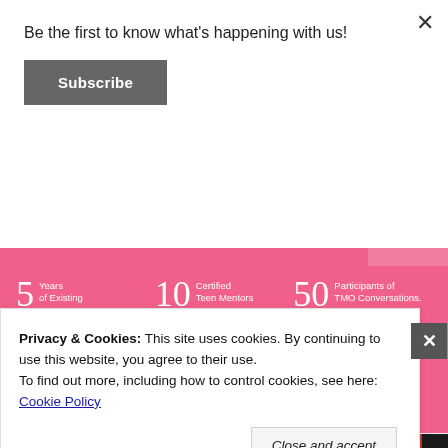Be the first to know what's happening with us!
Subscribe
[Figure (infographic): Pink banner with statistics: 5 Years of Existing, 10 Certified Teen Mentors, 50 Participants of TMO Conversations, and large text 700+]
Privacy & Cookies: This site uses cookies. By continuing to use this website, you agree to their use.
To find out more, including how to control cookies, see here: Cookie Policy
Close and accept